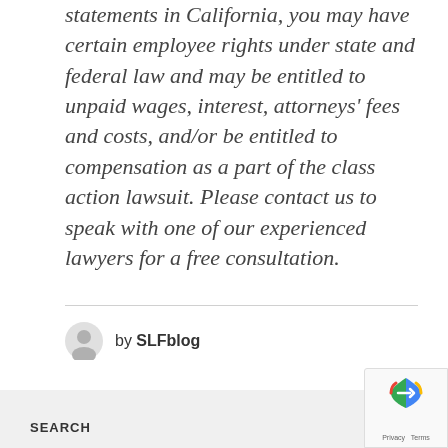statements in California, you may have certain employee rights under state and federal law and may be entitled to unpaid wages, interest, attorneys' fees and costs, and/or be entitled to compensation as a part of the class action lawsuit. Please contact us to speak with one of our experienced lawyers for a free consultation.
by SLFblog
SEARCH